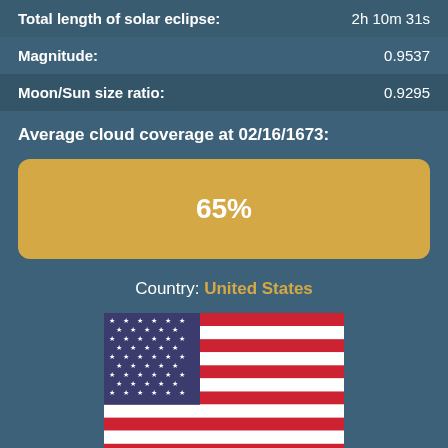| Total length of solar eclipse: | 2h 10m 31s |
| Magnitude: | 0.9537 |
| Moon/Sun size ratio: | 0.9295 |
Average cloud coverage at 02/16/1673:
[Figure (infographic): Cloud coverage bar showing 65%]
Country: United States
[Figure (illustration): Flag of the United States]